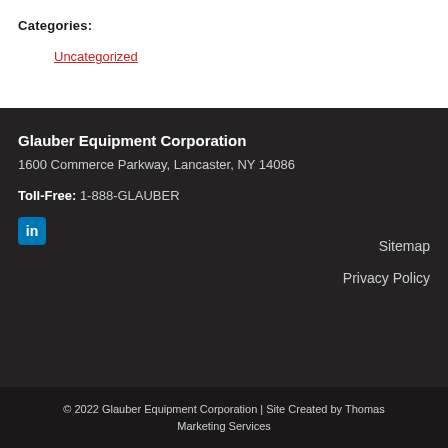Categories:
Uncategorized
Glauber Equipment Corporation
1600 Commerce Parkway, Lancaster, NY 14086
Toll-Free: 1-888-GLAUBER
[Figure (logo): LinkedIn icon - blue rounded square with 'in' text]
Sitemap
Privacy Policy
© 2022 Glauber Equipment Corporation | Site Created by Thomas Marketing Services